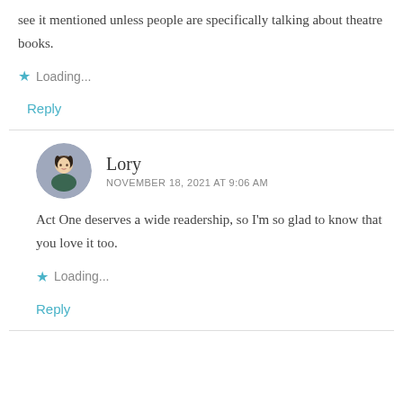see it mentioned unless people are specifically talking about theatre books.
Loading...
Reply
Lory
NOVEMBER 18, 2021 AT 9:06 AM
Act One deserves a wide readership, so I'm so glad to know that you love it too.
Loading...
Reply